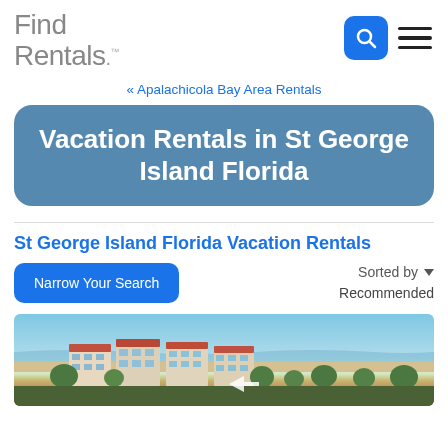Find Rentals
« Apalachicola Bay Area Rentals
Vacation Rentals in St George Island Florida
St George Island Florida Vacation Rentals
Narrow Your Search
Sorted by ▼ Recommended
[Figure (photo): Aerial view of beachfront vacation rental condos on St George Island Florida with ocean and beach visible]